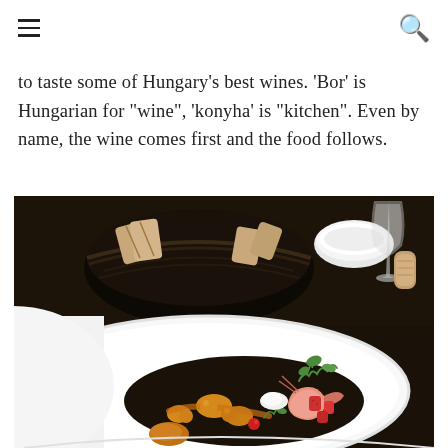navigation and search icons
to taste some of Hungary's best wines. 'Bor' is Hungarian for "wine", 'konyha' is "kitchen". Even by name, the wine comes first and the food follows.
[Figure (photo): A fine dining plate with shrimp, fruit garnishes, orange spheres, microgreens, and sauce on a white plate. In the background, a dark wicker bread basket with sliced bread, a small white bowl, wine glass, and wine cork on a dark table.]